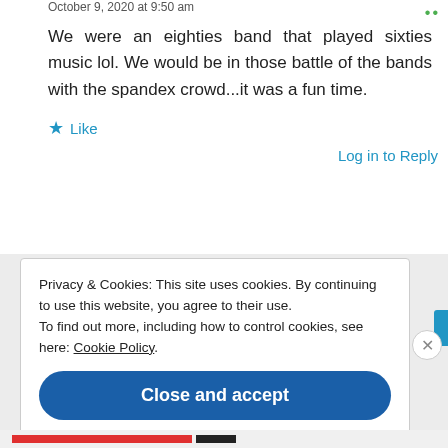October 9, 2020 at 9:50 am
We were an eighties band that played sixties music lol. We would be in those battle of the bands with the spandex crowd...it was a fun time.
★ Like
Log in to Reply
Privacy & Cookies: This site uses cookies. By continuing to use this website, you agree to their use.
To find out more, including how to control cookies, see here: Cookie Policy
Close and accept